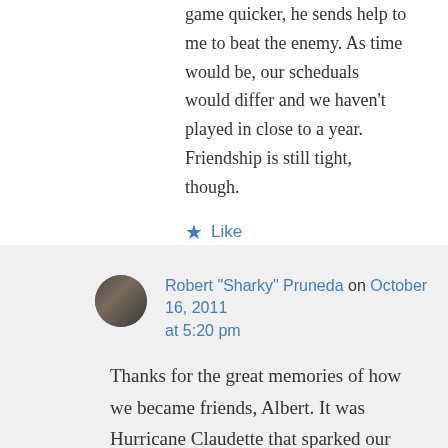game quicker, he sends help to me to beat the enemy. As time would be, our scheduals would differ and we haven't played in close to a year. Friendship is still tight, though.
★ Like
↪ Reply
Robert "Sharky" Pruneda on October 16, 2011 at 5:20 pm
Thanks for the great memories of how we became friends, Albert. It was Hurricane Claudette that sparked our friendship. Without any electricity, we started playing chess together on the front porch. It's amazing how it sometimes takes a force of